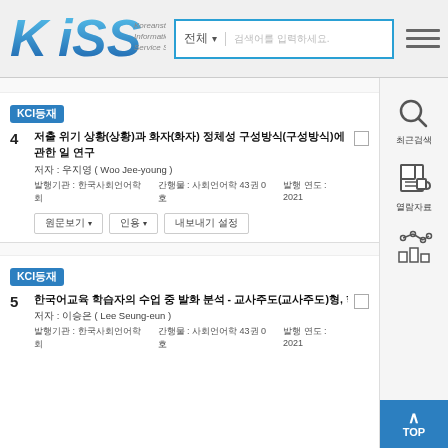[Figure (logo): KISS Koreanstudies Information Service System logo with blue stylized text]
KCI등재
4  저출 위기 상황(상황)과 화자(화자) 정체성 구성방식(구성방식)에 관한 일 연구
저자 : 우지영 ( Woo Jee-young )
발행기관 : 한국사회언어학회   간행물 : 사회언어학 43권 0호   발행 연도 : 2021
KCI등재
5  한국어교육 학습자의 수업 중 발화 분석 - 교사주도(교사주도)형, 학습자중심(학습자중심)형 수업에서 나타나는
저자 : 이승은 ( Lee Seung-eun )
발행기관 : 한국사회언어학회   간행물 : 사회언어학 43권 0호   발행 연도 : 2021